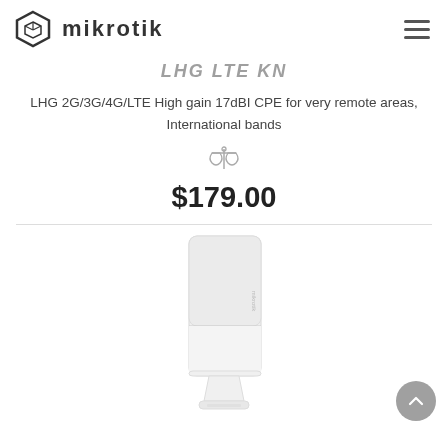MikroTik logo and navigation header
LHG LTE KN
LHG 2G/3G/4G/LTE High gain 17dBI CPE for very remote areas, International bands
$179.00
[Figure (photo): MikroTik LHG LTE KN product photo showing a white rectangular CPE device on a small stand]